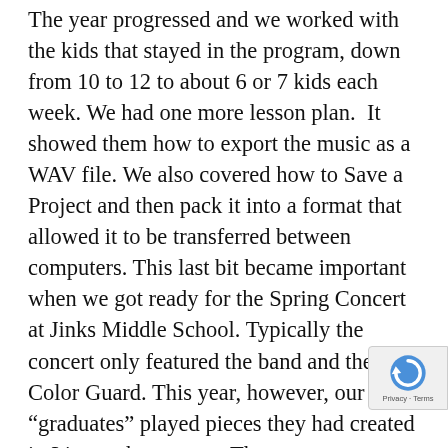The year progressed and we worked with the kids that stayed in the program, down from 10 to 12 to about 6 or 7 kids each week. We had one more lesson plan.  It showed them how to export the music as a WAV file. We also covered how to Save a Project and then pack it into a format that allowed it to be transferred between computers. This last bit became important when we got ready for the Spring Concert at Jinks Middle School. Typically the concert only featured the band and the Color Guard. This year, however, our 6 “graduates” played pieces they had created in Live at the concert. The response was phenomenal! Not only did the parents and those attending the concert respond to the Ableton Live produced music, but the kids transformed. They had never heard their music LOUD, with full bass response. I could see that they had crossed a threshold from playing around on a computer making a few sounds to actual composers who were